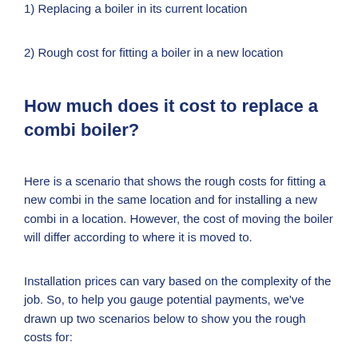1) Replacing a boiler in its current location
2) Rough cost for fitting a boiler in a new location
How much does it cost to replace a combi boiler?
Here is a scenario that shows the rough costs for fitting a new combi in the same location and for installing a new combi in a location. However, the cost of moving the boiler will differ according to where it is moved to.
Installation prices can vary based on the complexity of the job. So, to help you gauge potential payments, we've drawn up two scenarios below to show you the rough costs for:
1) Replacing a boiler in its current location
2) Rough cost for fitting a boiler in a new location